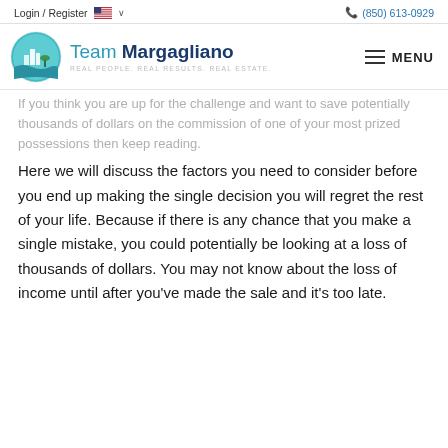Login / Register  🇺🇸 ∨    (850) 613-0929
[Figure (logo): Team Margagliano real estate logo with circular teal icon and text. REAL PEOPLE. REAL RESULTS. REAL ESTATE. with MENU hamburger icon on right.]
If you think you are up for the challenge and want to save potentially thousands of dollars on the commission of one of your most prized possessions then keep reading.
Here we will discuss the factors you need to consider before you end up making the single decision you will regret the rest of your life. Because if there is any chance that you make a single mistake, you could potentially be looking at a loss of thousands of dollars. You may not know about the loss of income until after you've made the sale and it's too late.